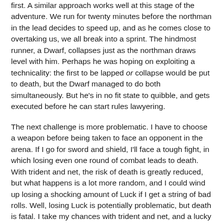first. A similar approach works well at this stage of the adventure. We run for twenty minutes before the northman in the lead decides to speed up, and as he comes close to overtaking us, we all break into a sprint. The hindmost runner, a Dwarf, collapses just as the northman draws level with him. Perhaps he was hoping on exploiting a technicality: the first to be lapped or collapse would be put to death, but the Dwarf managed to do both simultaneously. But he's in no fit state to quibble, and gets executed before he can start rules lawyering.
The next challenge is more problematic. I have to choose a weapon before being taken to face an opponent in the arena. If I go for sword and shield, I'll face a tough fight, in which losing even one round of combat leads to death. With trident and net, the risk of death is greatly reduced, but what happens is a lot more random, and I could wind up losing a shocking amount of Luck if I get a string of bad rolls. Well, losing Luck is potentially problematic, but death is fatal. I take my chances with trident and net, and a lucky roll enables me to ensnare and fell the Bonecrusher on the very first try.